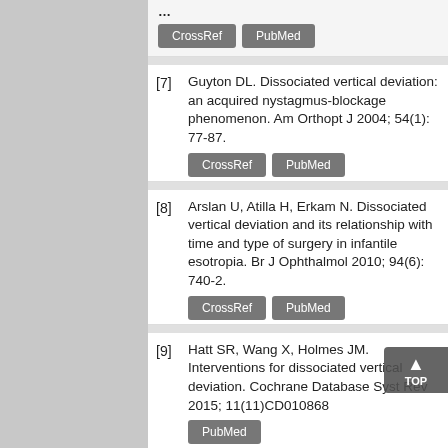[7] Guyton DL. Dissociated vertical deviation: an acquired nystagmus-blockage phenomenon. Am Orthopt J 2004; 54(1): 77-87.
[8] Arslan U, Atilla H, Erkam N. Dissociated vertical deviation and its relationship with time and type of surgery in infantile esotropia. Br J Ophthalmol 2010; 94(6): 740-2.
[9] Hatt SR, Wang X, Holmes JM. Interventions for dissociated vertical deviation. Cochrane Database Syst Rev 2015; 11(11)CD010868
[10] Mravicic I, Gulic MP, Barisic A, Biscevic A, Pjano MA, Pidro A. Different surgical approaches for treatment of dissociated vertical deviation (DVD). Med Arh 2019;